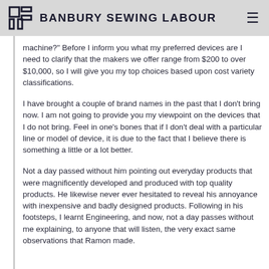BANBURY SEWING LABOUR
machine?" Before I inform you what my preferred devices are I need to clarify that the makers we offer range from $200 to over $10,000, so I will give you my top choices based upon cost variety classifications.
I have brought a couple of brand names in the past that I don't bring now. I am not going to provide you my viewpoint on the devices that I do not bring. Feel in one's bones that if I don't deal with a particular line or model of device, it is due to the fact that I believe there is something a little or a lot better.
Not a day passed without him pointing out everyday products that were magnificently developed and produced with top quality products. He likewise never ever hesitated to reveal his annoyance with inexpensive and badly designed products. Following in his footsteps, I learnt Engineering, and now, not a day passes without me explaining, to anyone that will listen, the very exact same observations that Ramon made.